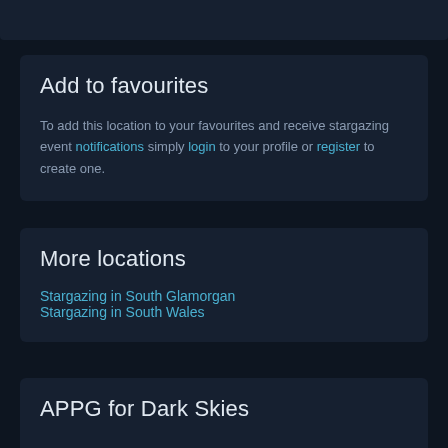Add to favourites
To add this location to your favourites and receive stargazing event notifications simply login to your profile or register to create one.
More locations
Stargazing in South Glamorgan
Stargazing in South Wales
APPG for Dark Skies